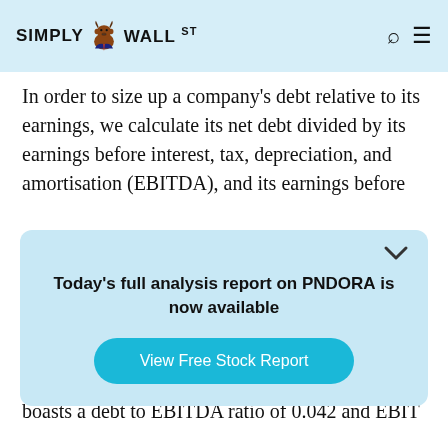SIMPLY WALL ST
In order to size up a company's debt relative to its earnings, we calculate its net debt divided by its earnings before interest, tax, depreciation, and amortisation (EBITDA), and its earnings before
[Figure (screenshot): Popup overlay with text 'Today's full analysis report on PNDORA is now available' and a 'View Free Stock Report' button]
Pandora has very little debt (net of cash), and boasts a debt to EBITDA ratio of 0.042 and EBIT